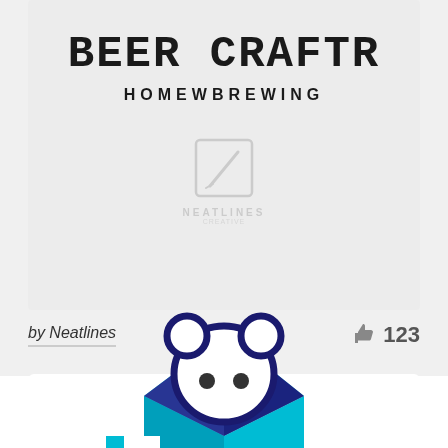[Figure (logo): Beer Craftr Homewbrewing logo with Neatlines watermark on light gray background]
by Neatlines
123
[Figure (illustration): Neatlines mascot (white bear/cat character peeking out of a teal open box, with pixel plus sign decoration in teal)]